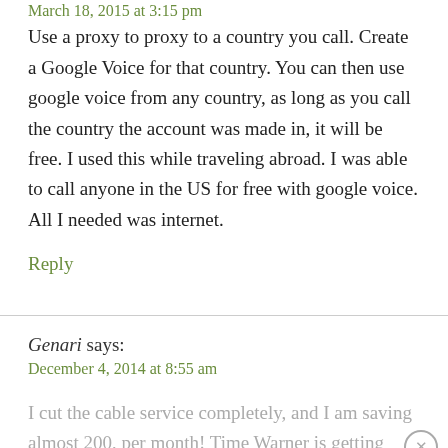March 18, 2015 at 3:15 pm
Use a proxy to proxy to a country you call. Create a Google Voice for that country. You can then use google voice from any country, as long as you call the country the account was made in, it will be free. I used this while traveling abroad. I was able to call anyone in the US for free with google voice. All I needed was internet.
Reply
Genari says:
December 4, 2014 at 8:55 am
I cut the cable service completely, and I am saving almost 200, per month! Time Warner is getting way